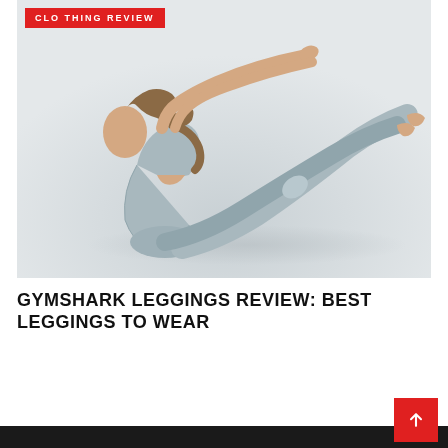[Figure (photo): Woman in light blue/grey athletic leggings and sports bra performing a V-sit/boat pose yoga position against a white/light grey background]
GYMSHARK LEGGINGS REVIEW: BEST LEGGINGS TO WEAR